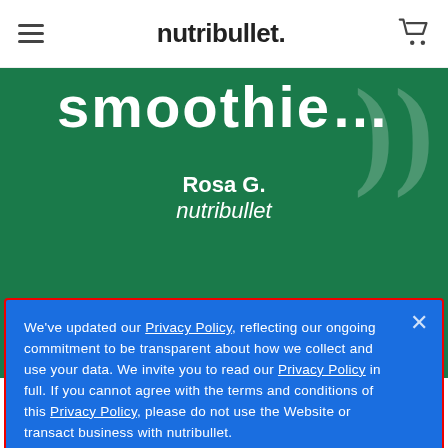nutribullet.
[Figure (screenshot): Green section showing partial text 'smoothie....' with large quotation marks and attribution 'Rosa G. nutribullet' on a dark green background]
We've updated our Privacy Policy, reflecting our ongoing commitment to be transparent about how we collect and use your data. We invite you to read our Privacy Policy in full. If you cannot agree with the terms and conditions of this Privacy Policy, please do not use the Website or transact business with nutribullet.